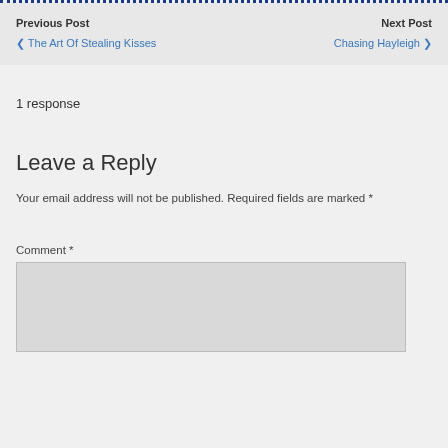Previous Post
< The Art Of Stealing Kisses
Next Post
Chasing Hayleigh >
1 response
Leave a Reply
Your email address will not be published. Required fields are marked *
Comment *